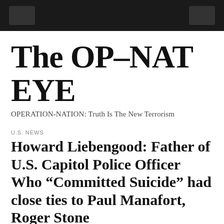The OP-NAT EYE
OPERATION-NATION: Truth Is The New Terrorism
U.S. NEWS
Howard Liebengood: Father of U.S. Capitol Police Officer Who “Committed Suicide” had close ties to Paul Manafort, Roger Stone
January 10, 2021